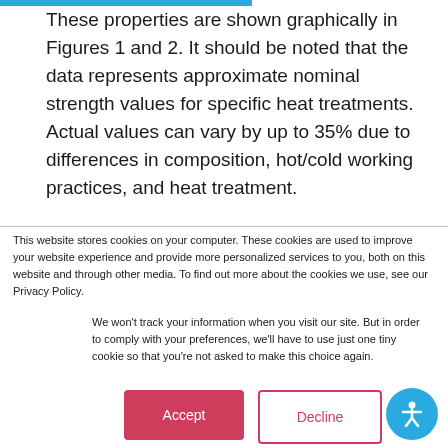These properties are shown graphically in Figures 1 and 2. It should be noted that the data represents approximate nominal strength values for specific heat treatments. Actual values can vary by up to 35% due to differences in composition, hot/cold working practices, and heat treatment.
This website stores cookies on your computer. These cookies are used to improve your website experience and provide more personalized services to you, both on this website and through other media. To find out more about the cookies we use, see our Privacy Policy.
We won't track your information when you visit our site. But in order to comply with your preferences, we'll have to use just one tiny cookie so that you're not asked to make this choice again.